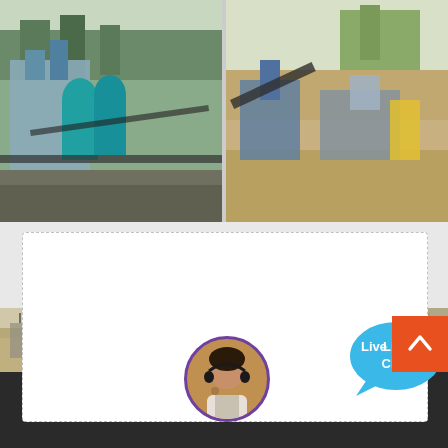[Figure (photo): Two industrial mining/crushing site photos side by side: left shows a processing plant with teal tanks and conveyor belts; right shows earthmoving and crushing equipment on a sandy site.]
Vibrating Crusher Screensvibrating Crusher ...
Pe Series Rock Jaw Crusher Price India - Dela... In india mini stone crusher machine price jaw crusher for sale stone tags rock crusher spring... crusher view larger image s155 414ft jaw crusher machinesvibrating screensvibrating feeders vibrating screens jaw crusher and vibrating
[Figure (infographic): Live Chat speech bubble in blue with 'Live Chat' text and an X close button.]
[Figure (photo): Bottom strip showing outdoor scenery and a customer service representative avatar circle.]
Leave Message
Chat Online